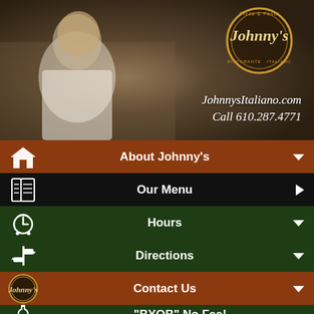[Figure (screenshot): Hero photo of a smiling man in a white chef coat standing in a restaurant, with Johnny's Pizza & Pasta Ristorante Italiano logo circle in top right and website/phone text overlay]
JohnnysItaliano.com
Call 610.287.4771
About Johnny's
Our Menu
Hours
Directions
Contact Us
"BYOB" No Fee!